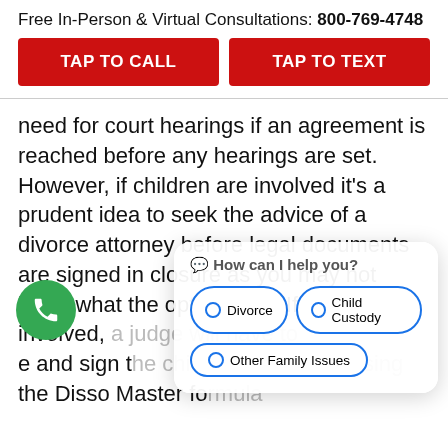Free In-Person & Virtual Consultations: 800-769-4748
[Figure (screenshot): Two red call-to-action buttons: TAP TO CALL and TAP TO TEXT]
need for court hearings if an agreement is reached before any hearings are set. However, if children are involved it's a prudent idea to seek the advice of a divorce attorney before legal documents are signed in closure as you may not know what the options are. If child [support] is involved, a judge will have to [approv]e and sign the child support order using the Disso Master fo[rmula] unless both spouses agree to a different amount. Both parti[es must be] present at the time to confi[rm the amount of child] support and ensure this meets the state's laws
[Figure (screenshot): Chatbot popup widget asking 'How can I help you?' with options: Divorce, Child Custody, Other Family Issues]
[Figure (screenshot): Green phone call button (floating action button) on bottom left]